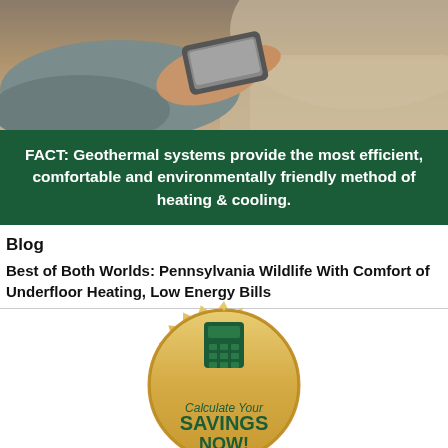[Figure (photo): Close-up photo of hands holding a smartphone or remote control device, with a cozy background]
FACT: Geothermal systems provide the most efficient, comfortable and environmentally friendly method of heating & cooling.
Blog
Best of Both Worlds: Pennsylvania Wildlife With Comfort of Underfloor Heating, Low Energy Bills
[Figure (logo): Gold seal/badge with calculator icon and text: Calculate Your SAVINGS NOW!]